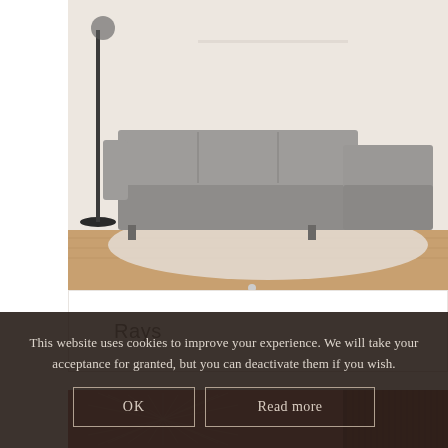[Figure (photo): Gray sectional sofa with chaise in a living room setting with light wood floor and white rug, floor lamp visible on left]
Rays
[Figure (photo): Mauve/pink fabric swatch with geometric line pattern on left side and ribbed texture on right side]
This website uses cookies to improve your experience. We will take your acceptance for granted, but you can deactivate them if you wish.
OK
Read more